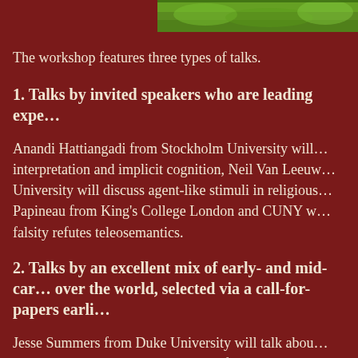[Figure (photo): Green foliage/grass strip image at top right of page]
The workshop features three types of talks.
1. Talks by invited speakers who are leading experts in the field.
Anandi Hattiangadi from Stockholm University will discuss interpretation and implicit cognition, Neil Van Leeuwen from Macquarie University will discuss agent-like stimuli in religious thought, and David Papineau from King's College London and CUNY will argue that biological falsity refutes teleosemantics.
2. Talks by an excellent mix of early- and mid-career researchers from over the world, selected via a call-for-papers earlier this year.
Jesse Summers from Duke University will talk about self-deception and rationalisation, Lubomira Radoilska from the University of Kent will discuss whether false beliefs are conducive to agential success.